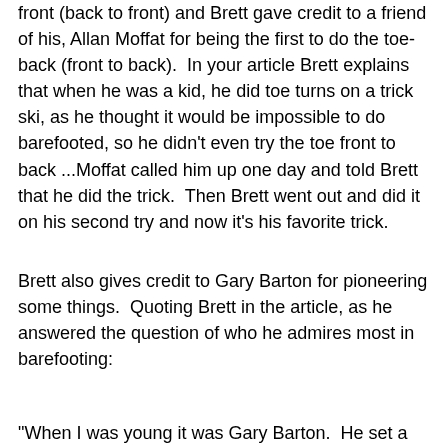front (back to front) and Brett gave credit to a friend of his, Allan Moffat for being the first to do the toe-back (front to back).  In your article Brett explains that when he was a kid, he did toe turns on a trick ski, as he thought it would be impossible to do barefooted, so he didn't even try the toe front to back ...Moffat called him up one day and told Brett that he did the trick.  Then Brett went out and did it on his second try and now it's his favorite trick.
Brett also gives credit to Gary Barton for pioneering some things.  Quoting Brett in the article, as he answered the question of who he admires most in barefooting:
"When I was young it was Gary Barton.  He set a pretty good